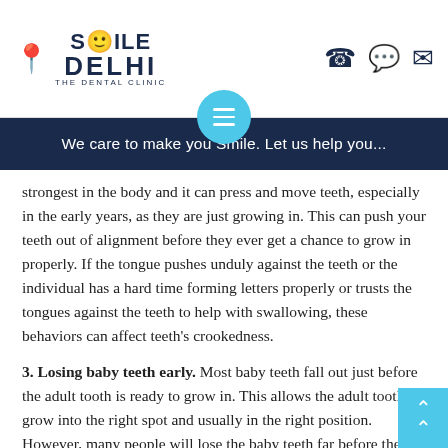Smile Delhi - The Dental Clinic | We care to make you Smile. Let us help you...
strongest in the body and it can press and move teeth, especially in the early years, as they are just growing in. This can push your teeth out of alignment before they ever get a chance to grow in properly. If the tongue pushes unduly against the teeth or the individual has a hard time forming letters properly or trusts the tongues against the teeth to help with swallowing, these behaviors can affect teeth's crookedness.
3. Losing baby teeth early. Most baby teeth fall out just before the adult tooth is ready to grow in. This allows the adult tooth to grow into the right spot and usually in the right position. However, many people will lose the baby teeth far before the adult teeth are completely ready to grow in. This means that the adult teeth m...